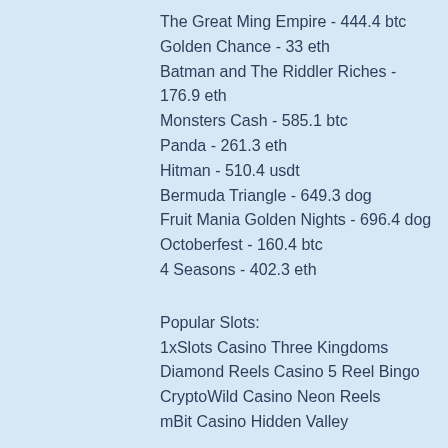The Great Ming Empire - 444.4 btc
Golden Chance - 33 eth
Batman and The Riddler Riches - 176.9 eth
Monsters Cash - 585.1 btc
Panda - 261.3 eth
Hitman - 510.4 usdt
Bermuda Triangle - 649.3 dog
Fruit Mania Golden Nights - 696.4 dog
Octoberfest - 160.4 btc
4 Seasons - 402.3 eth
Popular Slots:
1xSlots Casino Three Kingdoms
Diamond Reels Casino 5 Reel Bingo
CryptoWild Casino Neon Reels
mBit Casino Hidden Valley
https://www.takashihaitani.com/profile/contessabarocio823551/profile
https://www.euphoriastateofmind.com/profile/